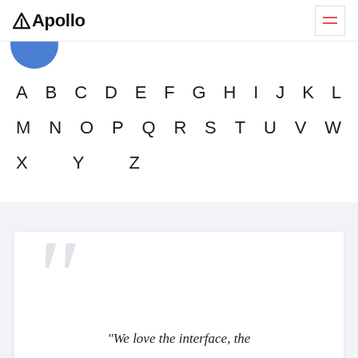Apollo
[Figure (illustration): Partial blue circle avatar at top left, below header]
A B C D E F G H I J K L M N O P Q R S T U V W X Y Z
"We love the interface, the